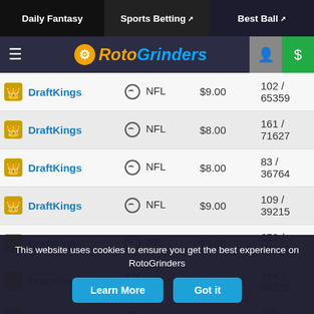Daily Fantasy | Sports Betting | Best Ball
[Figure (logo): RotoGrinders logo with hamburger menu, user icon, and dollar sign button]
| Site | Sport | Price | Entries |
| --- | --- | --- | --- |
| DraftKings | NFL | $9.00 | 102 / 65359 |
| DraftKings | NFL | $8.00 | 161 / 71627 |
| DraftKings | NFL | $8.00 | 83 / 36764 |
| DraftKings | NFL | $9.00 | 109 / 39215 |
| DraftKings | NFL | $3.00 | 653 / 673801 |
| DraftKings | NFL | $8.00 | 194 / 66176 |
| DraftKings | NFL | $3.00 | 400 / 440392 |
| DraftKings | NFL | $33.00 | 1431 / 7067 |
This website uses cookies to ensure you get the best experience on RotoGrinders
Learn More | Got it